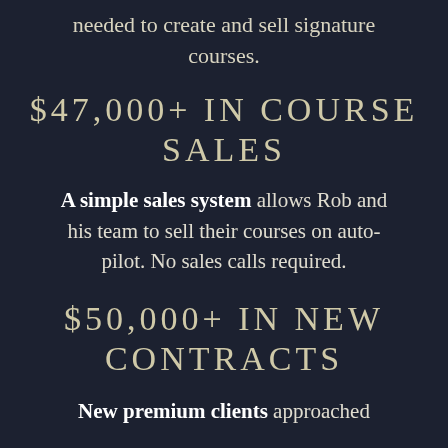needed to create and sell signature courses.
$47,000+ IN COURSE SALES
A simple sales system allows Rob and his team to sell their courses on auto-pilot. No sales calls required.
$50,000+ IN NEW CONTRACTS
New premium clients approached